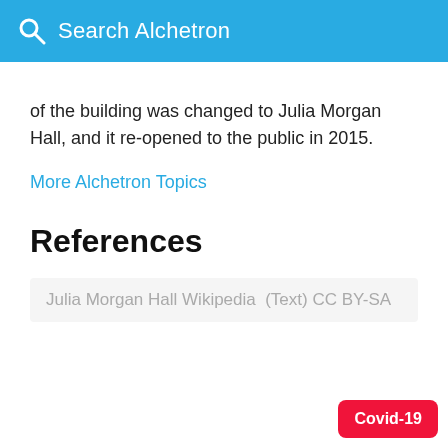Search Alchetron
of the building was changed to Julia Morgan Hall, and it re-opened to the public in 2015.
More Alchetron Topics
References
Julia Morgan Hall Wikipedia  (Text) CC BY-SA
Covid-19